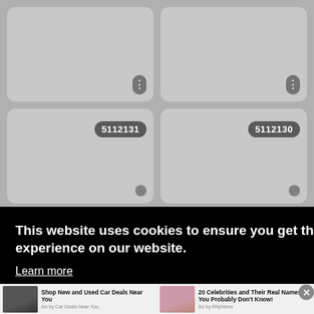[Figure (screenshot): Four thumbnail grid cells with rounded corners on a grey background. Top two cells have three-dots menu buttons. Bottom two cells have ID badges reading 5112131 and 5112130 plus small circular buttons.]
This website uses cookies to ensure you get the best experience on our website.
Learn more
[Figure (screenshot): Two advertisement banners at the bottom. Left: car image with text 'Shop New and Used Car Deals Near You', Ad by Car Deals Near You. Right: celebrity image with text '20 Celebrities and Their Real Names You Probably Don't Know!', Ad by RityNews. Close button (X) on the right.]